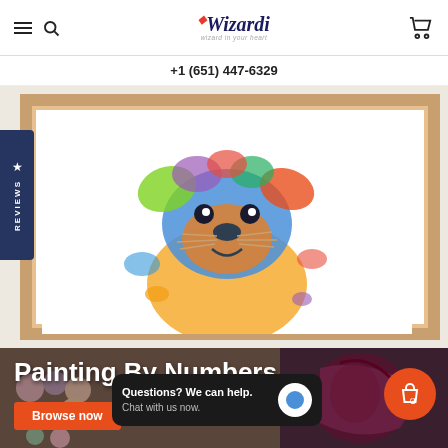Wizardi - wizard in your heart
+1 (651) 447-6329
[Figure (photo): Colorful painted artwork of a dog/animal face in a wood frame, displayed on a white background. The painting uses vivid rainbow colors.]
★ REVIEWS
[Figure (photo): Paint by numbers supplies and artwork showing a portrait in progress with maroon/dark red tones]
Painting By Numbers
Browse now
Questions? We can help. Chat with us now.